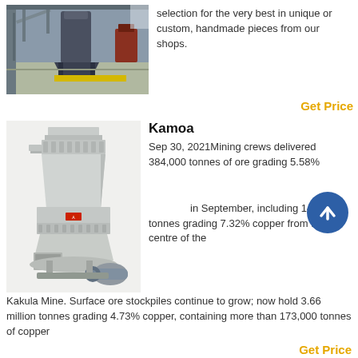[Figure (photo): Industrial mining facility interior with large vertical mill/crusher equipment on a factory floor]
selection for the very best in unique or custom, handmade pieces from our shops.
Get Price
[Figure (photo): Cone crusher machine — large industrial grey crushing equipment with motor unit]
Kamoa
Sep 30, 2021Mining crews delivered 384,000 tonnes of ore grading 5.58% copper in September, including 141,000 tonnes grading 7.32% copper from the centre of the Kakula Mine. Surface ore stockpiles continue to grow; now hold 3.66 million tonnes grading 4.73% copper, containing more than 173,000 tonnes of copper
Get Price